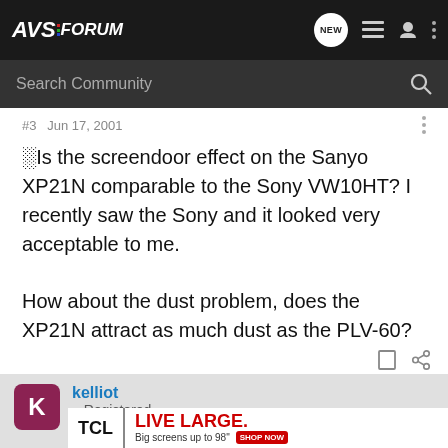AVSForum
#3 · Jun 17, 2001
Is the screendoor effect on the Sanyo XP21N comparable to the Sony VW10HT? I recently saw the Sony and it looked very acceptable to me.
How about the dust problem, does the XP21N attract as much dust as the PLV-60?
kelliot · Registered
[Figure (screenshot): TCL LIVE LARGE advertisement banner - Big screens up to 98 inches, Shop Now button]